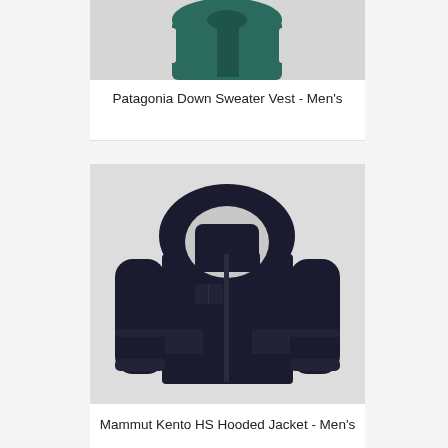[Figure (photo): Partial image of a Patagonia Down Sweater Vest in dark teal/green color, showing the top portion of the vest on a light gray background]
Patagonia Down Sweater Vest - Men's
[Figure (photo): Mammut Kento HS Hooded Jacket in dark navy/black color, shown on a light gray background. The jacket features a hood, front zipper, chest zip pocket, and side pockets.]
Mammut Kento HS Hooded Jacket - Men's